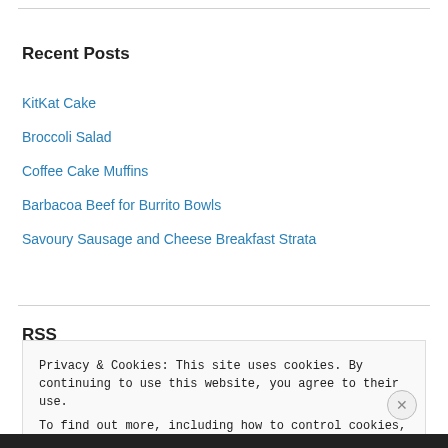Recent Posts
KitKat Cake
Broccoli Salad
Coffee Cake Muffins
Barbacoa Beef for Burrito Bowls
Savoury Sausage and Cheese Breakfast Strata
RSS
Privacy & Cookies: This site uses cookies. By continuing to use this website, you agree to their use.
To find out more, including how to control cookies, see here: Cookie Policy
Close and accept